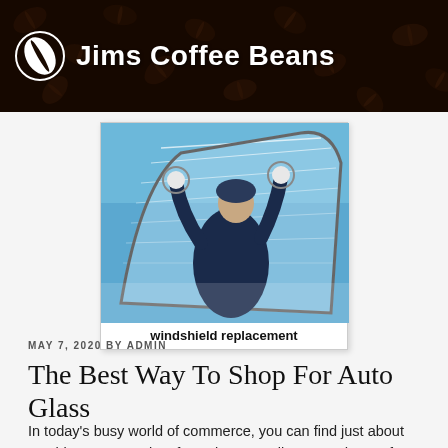Jims Coffee Beans
[Figure (photo): Windshield replacement photo showing a technician handling a car windshield against a blue sky background, with text caption 'windshield replacement']
MAY 7, 2020 BY ADMIN
The Best Way To Shop For Auto Glass
In today's busy world of commerce, you can find just about anything you want in a few minutes – all you need are a few phone numbers, access to the internet or some